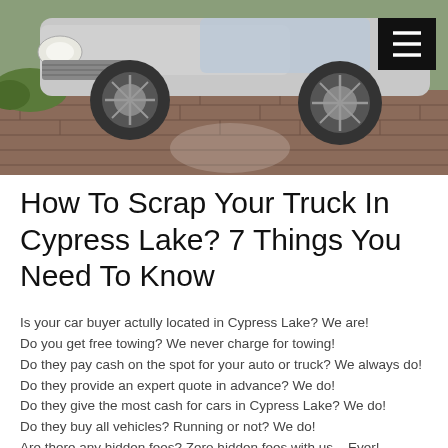[Figure (photo): Photo of a silver SUV/truck parked on a brick driveway, viewed from the front-left angle, with a hamburger menu icon overlay in the top-right corner]
How To Scrap Your Truck In Cypress Lake? 7 Things You Need To Know
Is your car buyer actully located in Cypress Lake? We are!
Do you get free towing? We never charge for towing!
Do they pay cash on the spot for your auto or truck? We always do!
Do they provide an expert quote in advance? We do!
Do they give the most cash for cars in Cypress Lake? We do!
Do they buy all vehicles? Running or not? We do!
Are there any hidden fees? Zero hidden fees with us – Ever!